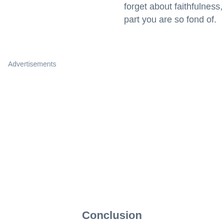forget about faithfulness, part you are so fond of.
Advertisements
Conclusion